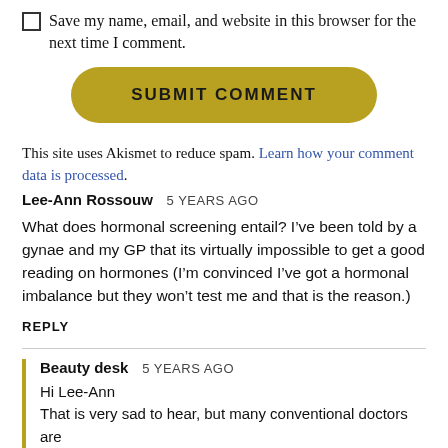Save my name, email, and website in this browser for the next time I comment.
[Figure (other): Yellow/gold rounded button labeled SUBMIT COMMENT]
This site uses Akismet to reduce spam. Learn how your comment data is processed.
Lee-Ann Rossouw  5 YEARS AGO
What does hormonal screening entail? I’ve been told by a gynae and my GP that its virtually impossible to get a good reading on hormones (I’m convinced I’ve got a hormonal imbalance but they won’t test me and that is the reason.)
REPLY
Beauty desk  5 YEARS AGO
Hi Lee-Ann
That is very sad to hear, but many conventional doctors are